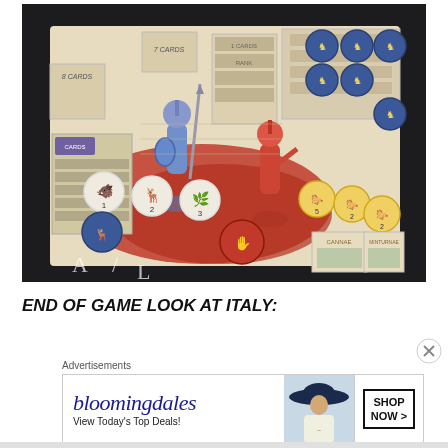[Figure (photo): A board game scene showing two painted miniature soldier figures (one blue, one red) standing on a game board with tokens, cards, and circular playing pieces featuring animal symbols. The board appears to be from a historical wargame set in ancient Italy, with areas labeled including 'Cannae' and 'Minturnae'.]
END OF GAME LOOK AT ITALY:
Advertisements
[Figure (other): Bloomingdale's advertisement banner showing the text 'bloomingdales' in stylized font, 'View Today's Top Deals!' tagline, a woman wearing a large sun hat, and a 'SHOP NOW >' button.]